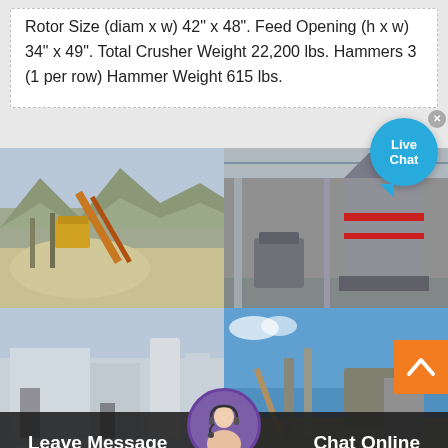Rotor Size (diam x w) 42" x 48". Feed Opening (h x w) 34" x 49". Total Crusher Weight 22,200 lbs. Hammers 3 (1 per row) Hammer Weight 615 lbs.
[Figure (photo): Quarry/mining site with conveyor belts and crushed stone aggregate in mountainous terrain]
[Figure (photo): Industrial factory interior showing large grey grinding/milling machine equipment]
[Figure (photo): White powder/mineral processing facility exterior with industrial equipment]
[Figure (photo): Outdoor mining/crushing plant with blue sky background and industrial machinery]